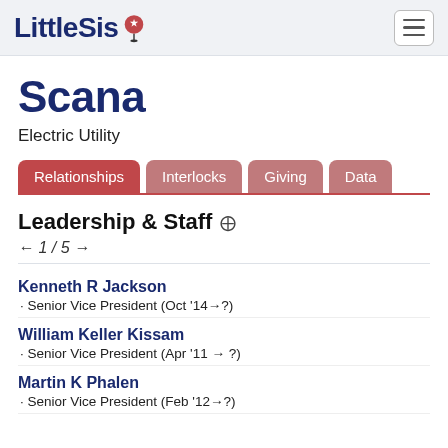LittleSis
Scana
Electric Utility
Relationships | Interlocks | Giving | Data
Leadership & Staff
← 1 / 5 →
Kenneth R Jackson · Senior Vice President (Oct '14 → ?)
William Keller Kissam · Senior Vice President (Apr '11 → ?)
Martin K Phalen · Senior Vice President (Feb '12 → ?)